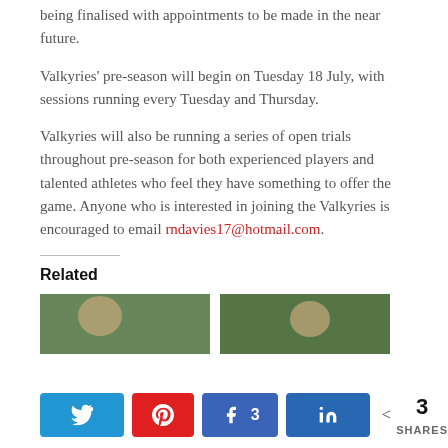being finalised with appointments to be made in the near future.
Valkyries' pre-season will begin on Tuesday 18 July, with sessions running every Tuesday and Thursday.
Valkyries will also be running a series of open trials throughout pre-season for both experienced players and talented athletes who feel they have something to offer the game. Anyone who is interested in joining the Valkyries is encouraged to email rndavies17@hotmail.com.
Related
[Figure (photo): Two related article thumbnail images side by side]
< 3 SHARES (share bar with Twitter, Pinterest, Facebook, LinkedIn buttons)